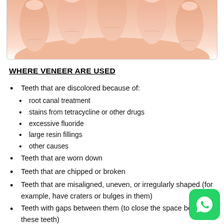[Figure (illustration): Top portion of an illustration showing human fingers/hand with skin-toned coloring, partially cropped at top of page]
WHERE VENEER ARE USED
Teeth that are discolored because of:
root canal treatment
stains from tetracycline or other drugs
excessive fluoride
large resin fillings
other causes
Teeth that are worn down
Teeth that are chipped or broken
Teeth that are misaligned, uneven, or irregularly shaped (for example, have craters or bulges in them)
Teeth with gaps between them (to close the space betw these teeth)